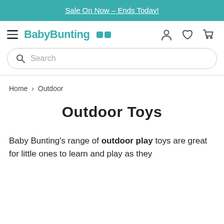Sale On Now – Ends Today!
[Figure (logo): BabyBunting logo with hamburger menu, teal text, and two teal square dots]
[Figure (screenshot): Search bar with magnifying glass icon and placeholder text 'Search']
Home > Outdoor
Outdoor Toys
Baby Bunting's range of outdoor play toys are great for little ones to learn and play as they